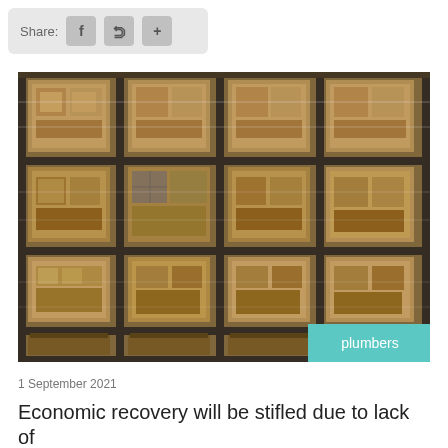Share: f y +
[Figure (photo): Warehouse shelving filled with palletized cardboard boxes wrapped in plastic, multiple rows and columns of industrial storage racking. A teal 'plumbers' label tag appears in the bottom right corner of the image.]
1 September 2021
Economic recovery will be stifled due to lack of